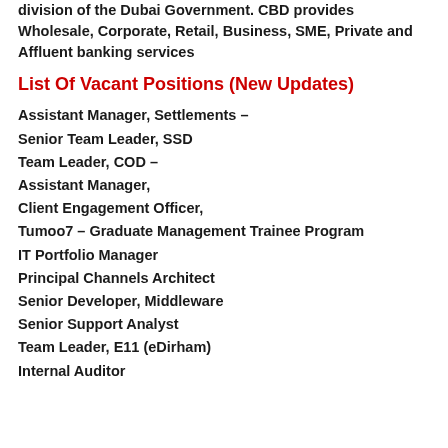division of the Dubai Government. CBD provides Wholesale, Corporate, Retail, Business, SME, Private and Affluent banking services
List Of Vacant Positions (New Updates)
Assistant Manager, Settlements –
Senior Team Leader, SSD
Team Leader, COD –
Assistant Manager,
Client Engagement Officer,
Tumoo7 – Graduate Management Trainee Program
IT Portfolio Manager
Principal Channels Architect
Senior Developer, Middleware
Senior Support Analyst
Team Leader, E11 (eDirham)
Internal Auditor